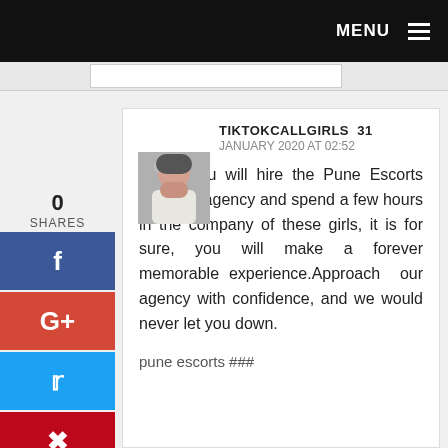MENU
0
SHARES
[Figure (screenshot): Profile avatar thumbnail - woman in white shirt]
TIKTOKCALLGIRLS  31 JANUARY 2020 AT 02:52
Once, you will hire the Pune Escorts from our agency and spend a few hours in the company of these girls, it is for sure, you will make a forever memorable experience.Approach  our agency with confidence, and we would never let you down.
pune escorts ###